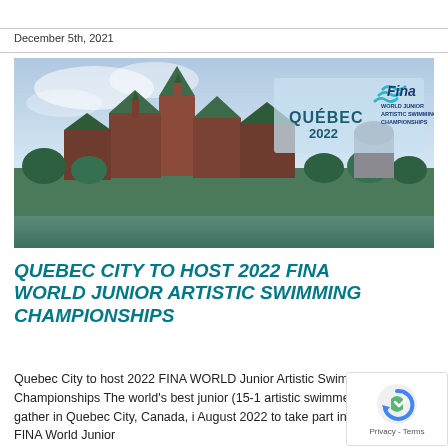December 5th, 2021
[Figure (photo): Panoramic banner image of Quebec City skyline featuring the Chateau Frontenac, with overlay text: QUEBEC 2022, FINA WORLD JUNIOR ARTISTIC SWIMMING CHAMPIONSHIPS logo in top right corner.]
QUEBEC CITY TO HOST 2022 FINA WORLD JUNIOR ARTISTIC SWIMMING CHAMPIONSHIPS
Quebec City to host 2022 FINA WORLD Junior Artistic Swimming Championships The world's best junior (15-1 artistic swimmers will gather in Quebec City, Canada, i August 2022 to take part in the 17th FINA World Junior